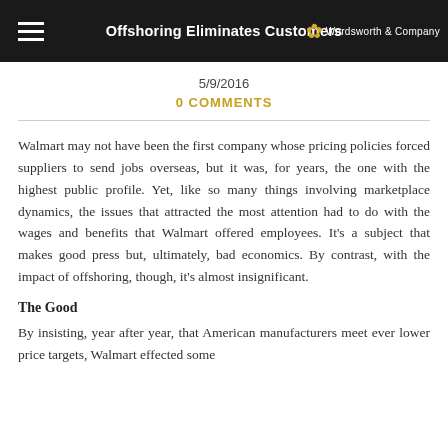Offshoring Eliminates Customers — Wordsworth & Company
5/9/2016
0 COMMENTS
Walmart may not have been the first company whose pricing policies forced suppliers to send jobs overseas, but it was, for years, the one with the highest public profile. Yet, like so many things involving marketplace dynamics, the issues that attracted the most attention had to do with the wages and benefits that Walmart offered employees. It's a subject that makes good press but, ultimately, bad economics. By contrast, with the impact of offshoring, though, it's almost insignificant.
The Good
By insisting, year after year, that American manufacturers meet ever lower price targets, Walmart effected some